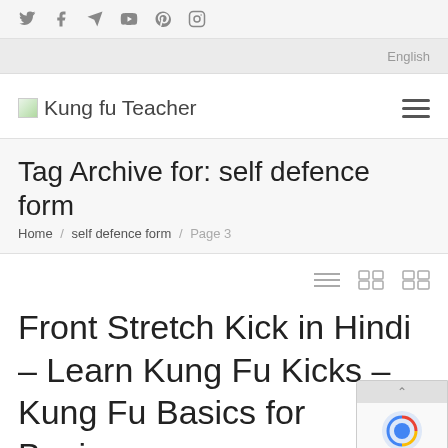Social icons: Twitter, Facebook, Telegram, YouTube, Pinterest, Instagram
English
Kung fu Teacher
Tag Archive for: self defence form
Home / self defence form / Page 3
Front Stretch Kick in Hindi – Learn Kung Fu Kicks – Kung Fu Basics for Beginners